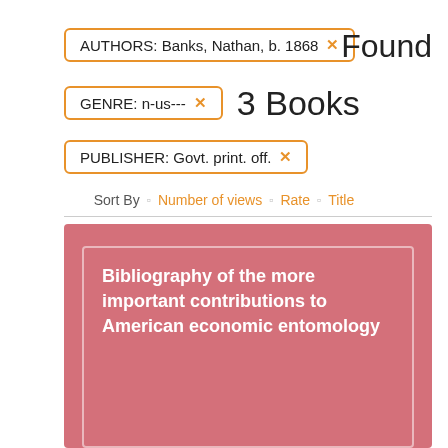AUTHORS: Banks, Nathan, b. 1868 ×
Found
GENRE: n-us--- ×
3 Books
PUBLISHER: Govt. print. off. ×
Sort By  ◻  Number of views  ◻  Rate  ◻  Title
Bibliography of the more important contributions to American economic entomology